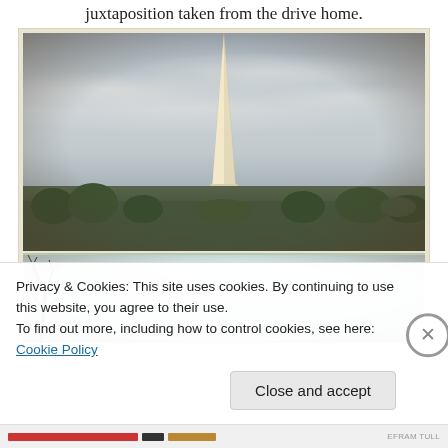juxtaposition taken from the drive home.
[Figure (photo): Two stacked photographs with vintage/retro filter. Top photo shows the Washington Monument obelisk rising above a treeline against a cloudy sky. Bottom photo shows a pale blue-green sky with bare tree branches visible at left edge.]
Privacy & Cookies: This site uses cookies. By continuing to use this website, you agree to their use.
To find out more, including how to control cookies, see here: Cookie Policy
Close and accept